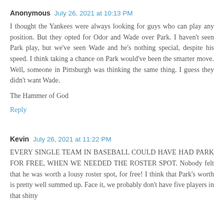Anonymous July 26, 2021 at 10:13 PM
I thought the Yankees were always looking for guys who can play any position. But they opted for Odor and Wade over Park. I haven't seen Park play, but we've seen Wade and he's nothing special, despite his speed. I think taking a chance on Park would've been the smarter move. Well, someone in Pittsburgh was thinking the same thing. I guess they didn't want Wade.
The Hammer of God
Reply
Kevin July 26, 2021 at 11:22 PM
EVERY SINGLE TEAM IN BASEBALL COULD HAVE HAD PARK FOR FREE, WHEN WE NEEDED THE ROSTER SPOT. Nobody felt that he was worth a lousy roster spot, for free! I think that Park's worth is pretty well summed up. Face it, we probably don't have five players in that shitty